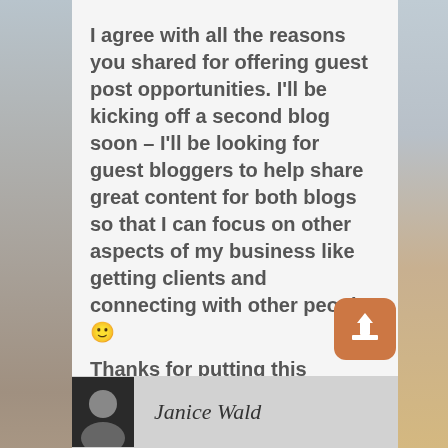I agree with all the reasons you shared for offering guest post opportunities. I'll be kicking off a second blog soon – I'll be looking for guest bloggers to help share great content for both blogs so that I can focus on other aspects of my business like getting clients and connecting with other people. 🙂

Thanks for putting this together! Passing this along for sure!

Cori
Janice Wald